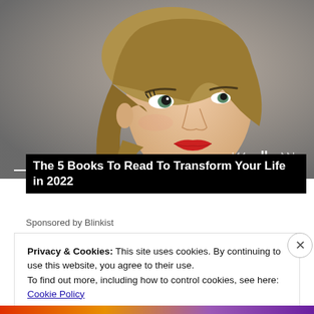[Figure (photo): Portrait photo of a blonde woman with red lipstick looking upward, gray background. Media player controls (skip back, pause, skip forward) visible at bottom right. Progress bar at bottom.]
The 5 Books To Read To Transform Your Life in 2022
Sponsored by Blinkist
Privacy & Cookies: This site uses cookies. By continuing to use this website, you agree to their use.
To find out more, including how to control cookies, see here: Cookie Policy
Close and accept